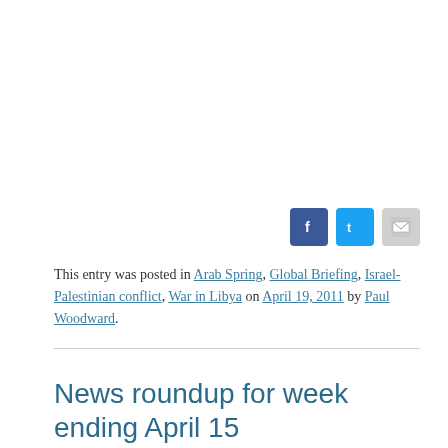[Figure (other): Social media sharing icons: Facebook (blue), Twitter (blue), Email (gray)]
This entry was posted in Arab Spring, Global Briefing, Israel-Palestinian conflict, War in Libya on April 19, 2011 by Paul Woodward.
News roundup for week ending April 15
For more on why I'm doing reduced news coverage right now, please read this post. — PW
With Friday's deadline approaching,